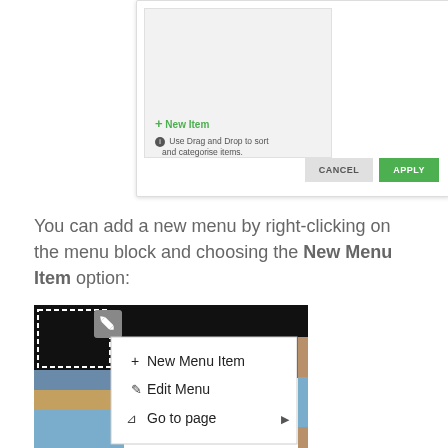[Figure (screenshot): Dialog box with light grey panel showing '+ New Item' in green and an info note 'Use Drag and Drop to sort and categorise items', with CANCEL and APPLY buttons at bottom right]
You can add a new menu by right-clicking on the menu block and choosing the New Menu Item option:
[Figure (screenshot): Screenshot showing a context menu with options: + New Menu Item, Edit Menu, Go to page (with arrow), overlaid on a dark background with a dashed selection outline and edit pencil icon]